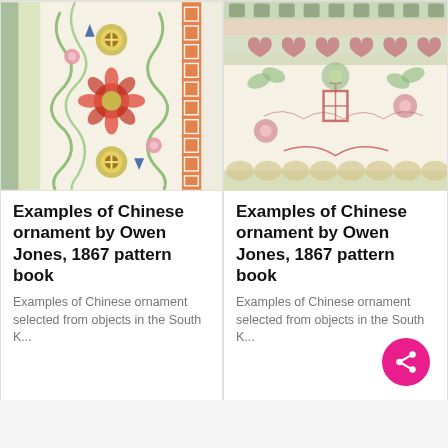[Figure (illustration): Chinese ornamental pattern with floral scrollwork, circular medallions in blue and gold, green vines, red flowers, and a Greek key border stripe on cream background]
[Figure (illustration): Chinese ornamental pattern with floral repeating motifs, butterflies, architectural border bands in muted greens and reds on cream background]
Examples of Chinese ornament by Owen Jones, 1867 pattern book
Examples of Chinese ornament by Owen Jones, 1867 pattern book
Examples of Chinese ornament selected from objects in the South K...
Examples of Chinese ornament selected from objects in the South K...